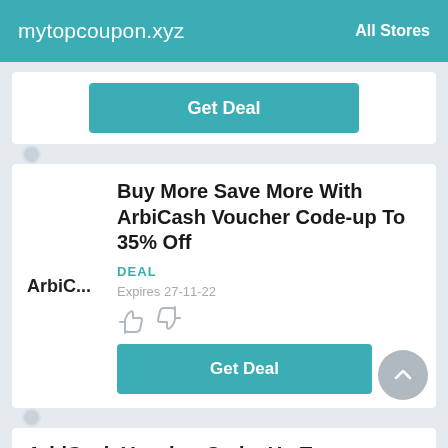mytopcoupon.xyz   All Stores
Get Deal
Buy More Save More With ArbiCash Voucher Code-up To 35% Off
DEAL
Expires 27-11-22
Get Deal
ArbiCash Voucher Code: Up To 50% Off With No Minimum